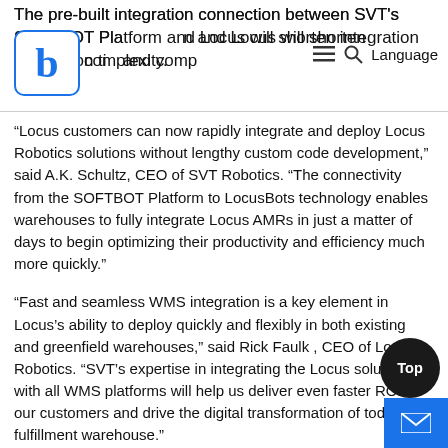The pre-built integration connection between SVT's SOFTBOT Platform and Locus will shorten integration time and complexity.
“Locus customers can now rapidly integrate and deploy Locus Robotics solutions without lengthy custom code development,” said A.K. Schultz, CEO of SVT Robotics. “The connectivity from the SOFTBOT Platform to LocusBots technology enables warehouses to fully integrate Locus AMRs in just a matter of days to begin optimizing their productivity and efficiency much more quickly.”
“Fast and seamless WMS integration is a key element in Locus’s ability to deploy quickly and flexibly in both existing and greenfield warehouses,” said Rick Faulk , CEO of Locus Robotics. “SVT’s expertise in integrating the Locus solution with all WMS platforms will help us deliver even faster ROI for our customers and drive the digital transformation of today’s fulfillment warehouse.”
“Kenco’s collaboration with SVT and Locus Robotics has made deploying autonomous mobile robots seamless, significantly ea…